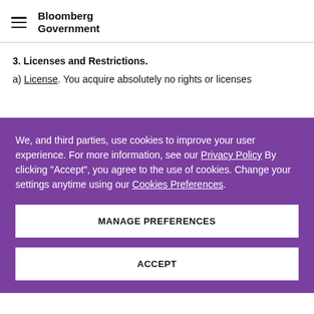Bloomberg Government
3. Licenses and Restrictions.
a) License. You acquire absolutely no rights or licenses
We, and third parties, use cookies to improve your user experience. For more information, see our Privacy Policy By clicking "Accept", you agree to the use of cookies. Change your settings anytime using our Cookies Preferences.
MANAGE PREFERENCES
ACCEPT